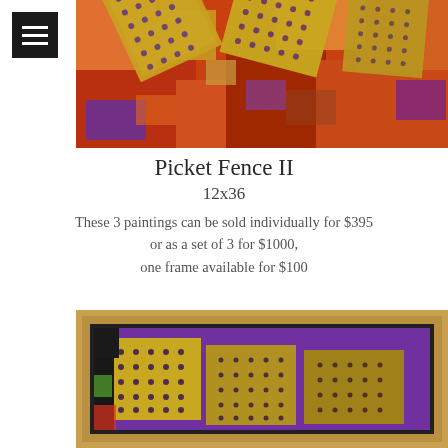[Figure (photo): Colorful abstract painting showing geometric quilt-like patterns with yellow, red, orange, purple blocks arranged at angles, viewed from above.]
Picket Fence II
12x36
These 3 paintings can be sold individually for $395 or as a set of 3 for $1000, one frame available for $100
[Figure (photo): Colorful abstract painting in a gold/tan frame showing geometric pixelated patterns with yellow, purple, black and brown blocks.]